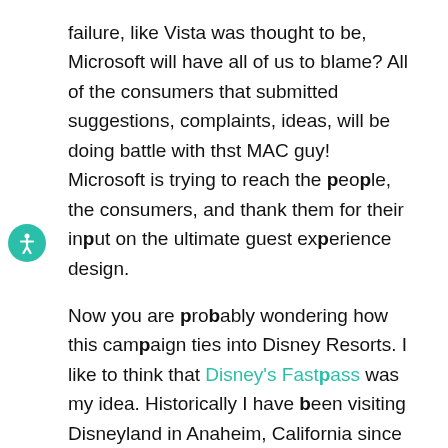failure, like Vista was thought to be, Microsoft will have all of us to blame? All of the consumers that submitted suggestions, complaints, ideas, will be doing battle with thst MAC guy! Microsoft is trying to reach the people, the consumers, and thank them for their input on the ultimate guest experience design.
Now you are probably wondering how this campaign ties into Disney Resorts. I like to think that Disney's Fastpass was my idea. Historically I have been visiting Disneyland in Anaheim, California since 1955. My parents would drive us from San Diego, before